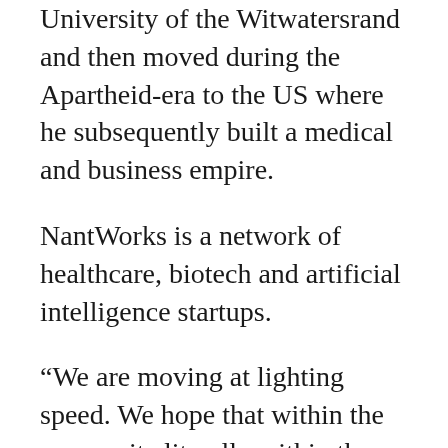University of the Witwatersrand and then moved during the Apartheid-era to the US where he subsequently built a medical and business empire.
NantWorks is a network of healthcare, biotech and artificial intelligence startups.
“We are moving at lighting speed. We hope that within the year, quite literally within the year, the first drug substance [active ingredient] will be produced in this facility,” said Soon-Shiong at the ribbon-cutting ceremony.